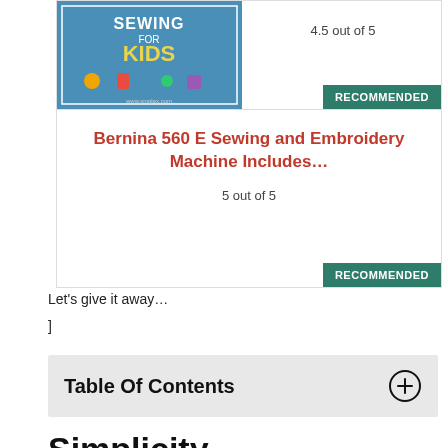[Figure (screenshot): Book cover for 'Sewing for Kids' with colorful illustration]
4.5 out of 5
RECOMMENDED
Bernina 560 E Sewing and Embroidery Machine Includes…
5 out of 5
RECOMMENDED
Let's give it away…
]
Table Of Contents
Simplicity
This caft website has sewing pattens that will meet you needs to make pillows, pincess desses and even Ameican doll gil outfits.